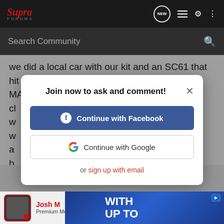Supra Forums — navigation bar with logo, NEW chat, list, profile, menu icons
Search Community
we did a local car with our kit and an SC61 that hit 450rwhp on pump gas (and stock ECU and MAF) at around 19psi but the st... cl... e w... w... a... b...
Join now to ask and comment!
Continue with Facebook
Continue with Google
or sign up with email
Josh M  Premium Member
[Figure (screenshot): Advertisement banner with blue background showing 'WITH UP TO' text and a product image]